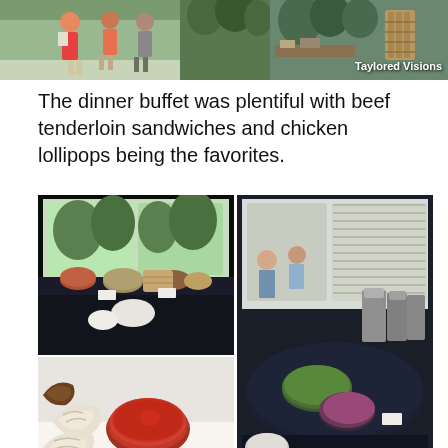[Figure (photo): Two-panel photo at top: left shows people at an outdoor event in colorful clothes; right shows a table display with text overlay 'Taylored Visions']
The dinner buffet was plentiful with beef tenderloin sandwiches and chicken lollipops being the favorites.
[Figure (photo): Grid of four food photos showing a dinner buffet spread: top-left shows buffet table with salads outdoors; top-right shows a round buffet table with chafing dishes; bottom-left shows dumplings with dipping sauce; bottom-right shows chicken lollipops on skewers; partial fifth photo at bottom-left shows a dish with orange slice.]